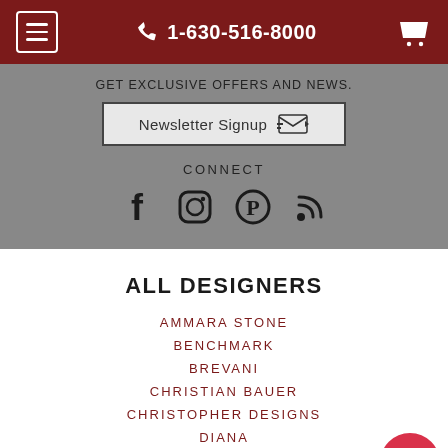1-630-516-8000
GET EXCLUSIVE OFFERS AND NEWS.
Newsletter Signup
CONNECT
[Figure (illustration): Social media icons: Facebook, Instagram, Pinterest, RSS feed]
ALL DESIGNERS
AMMARA STONE
BENCHMARK
BREVANI
CHRISTIAN BAUER
CHRISTOPHER DESIGNS
DIANA
FORGE
VIEW MORE